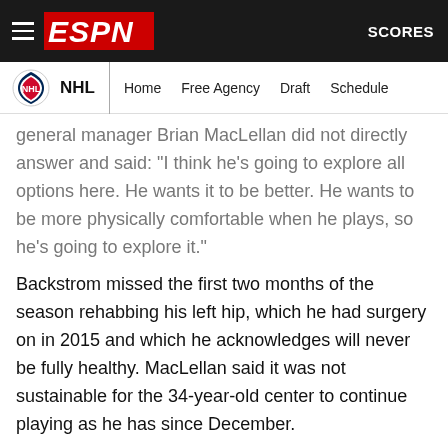ESPN - NHL
general manager Brian MacLellan did not directly answer and said: "I think he's going to explore all options here. He wants it to be better. He wants to be more physically comfortable when he plays, so he's going to explore it."
Backstrom missed the first two months of the season rehabbing his left hip, which he had surgery on in 2015 and which he acknowledges will never be fully healthy. MacLellan said it was not sustainable for the 34-year-old center to continue playing as he has since December.
Wilson missed almost all of Washington's first-round series against Florida after tweaking his left knee avoiding a hit in Game 1 on May 3. He skated a couple of times in the hopes of returning, but that was never a realistic possibility given the